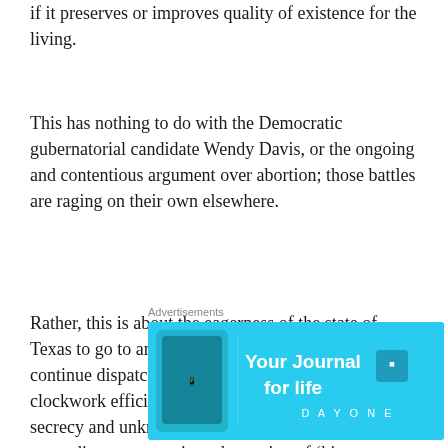if it preserves or improves quality of existence for the living.
This has nothing to do with the Democratic gubernatorial candidate Wendy Davis, or the ongoing and contentious argument over abortion; those battles are raging on their own elsewhere.
Rather, this is about the eagerness of the state of Texas to go to any expense and any length to continue dispatching prisoners on death row with clockwork efficiency and regularity, under a veil of secrecy and unknown cost, while any other state expenditures are castigated as a sign of ‘big government’ and pared back – even as those who
Advertisements
[Figure (other): Advertisement banner for 'Your Journal for life' by Day One app, with cyan/blue background, phone image on left, and Day One logo on right]